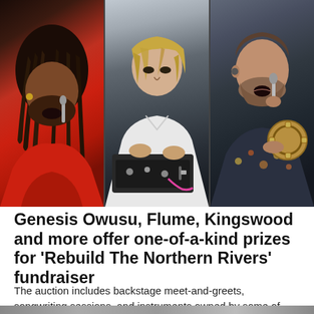[Figure (photo): Three side-by-side concert photos: left shows Genesis Owusu performing in red outfit with dreadlocks and microphone; center shows Flume (DJ/producer) leaning over equipment in white shirt; right shows a Kingswood singer performing with microphone and tambourine, wearing floral shirt with beard.]
Genesis Owusu, Flume, Kingswood and more offer one-of-a-kind prizes for 'Rebuild The Northern Rivers' fundraiser
The auction includes backstage meet-and-greets, songwriting sessions, and instruments owned by some of Australia's most revered artists